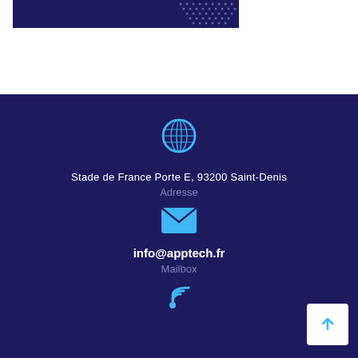[Figure (illustration): Dark navy blue banner with dot pattern decoration on the right side]
[Figure (illustration): Globe icon in blue color]
Stade de France Porte E, 93200 Saint-Denis
Adresse
[Figure (illustration): Email envelope icon in blue color]
info@apptech.fr
Mailbox
[Figure (illustration): Phone/signal icon in blue color (partially visible)]
[Figure (illustration): Back to top arrow button, white square with upward arrow]